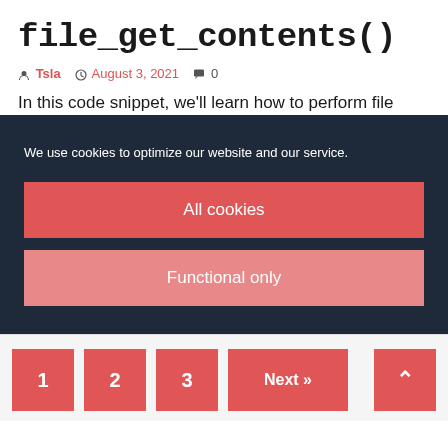file_get_contents()
Tsla  August 3, 2021  0
In this code snippet, we'll learn how to perform file
We use cookies to optimize our website and our service.
All cookies
Functional only
1  2  3  Next »